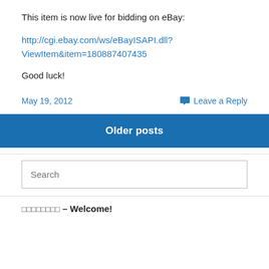This item is now live for bidding on eBay:
http://cgi.ebay.com/ws/eBayISAPI.dll?ViewItem&item=180887407435
Good luck!
May 19, 2012
Leave a Reply
Older posts
Search
□□□□□□□□ – Welcome!